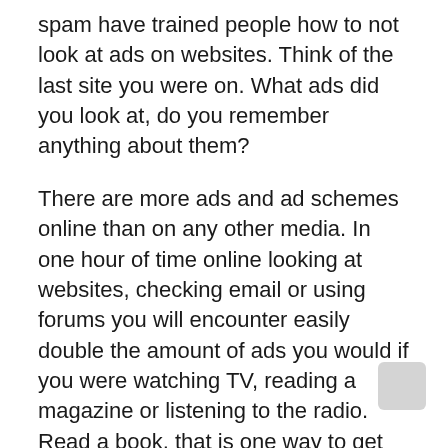spam have trained people how to not look at ads on websites. Think of the last site you were on. What ads did you look at, do you remember anything about them?
There are more ads and ad schemes online than on any other media. In one hour of time online looking at websites, checking email or using forums you will encounter easily double the amount of ads you would if you were watching TV, reading a magazine or listening to the radio. Read a book, that is one way to get away from ads (except for other books).
So the marketing plan online is ineffective and needs to be revamped. It may work on that thousand and first person to view your ad or be attacked by your marketing campaign to flood a